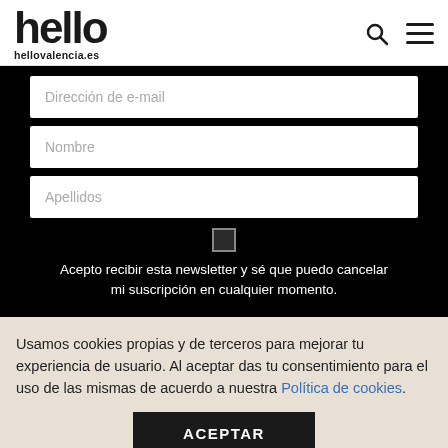hello hellovalencia.es
Dirección de e-mail
Nombre
Apellidos
Acepto recibir esta newsletter y sé que puedo cancelar mi suscripción en cualquier momento.
Usamos cookies propias y de terceros para mejorar tu experiencia de usuario. Al aceptar das tu consentimiento para el uso de las mismas de acuerdo a nuestra Política de cookies.
ACEPTAR